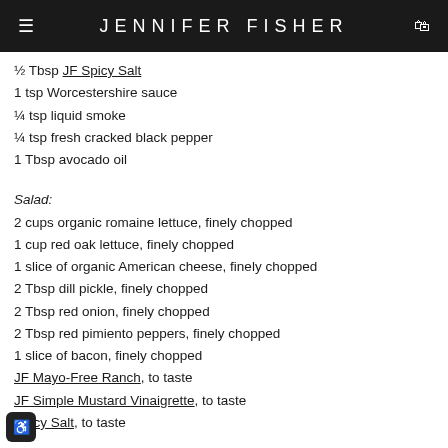JENNIFER FISHER
½ Tbsp JF Spicy Salt
1 tsp Worcestershire sauce
¼ tsp liquid smoke
¼ tsp fresh cracked black pepper
1 Tbsp avocado oil
Salad:
2 cups organic romaine lettuce, finely chopped
1 cup red oak lettuce, finely chopped
1 slice of organic American cheese, finely chopped
2 Tbsp dill pickle, finely chopped
2 Tbsp red onion, finely chopped
2 Tbsp red pimiento peppers, finely chopped
1 slice of bacon, finely chopped
JF Mayo-Free Ranch, to taste
JF Simple Mustard Vinaigrette, to taste
Spicy Salt, to taste